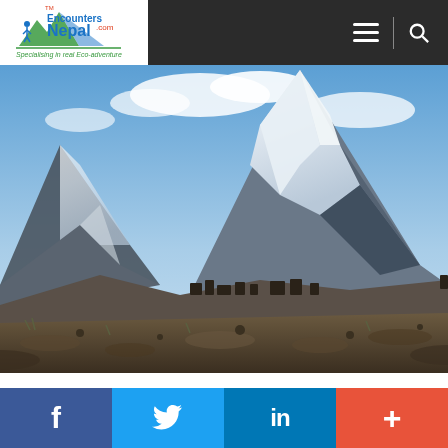[Figure (logo): Encounters Nepal logo with mountain graphic, tagline 'Specialising in real Eco-adventure']
[Figure (photo): Panoramic mountain photo showing snow-capped Himalayan peaks with rocky foreground terrain under a blue sky with clouds]
Kathmandu and Everest Panorama Trekking